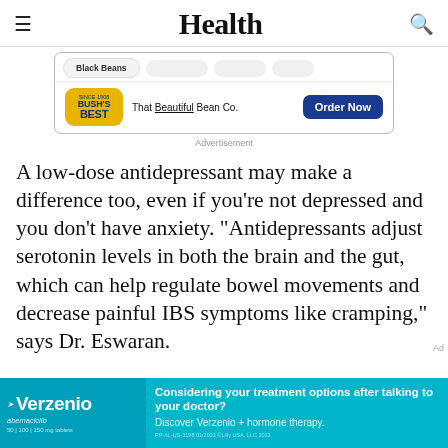Health
[Figure (screenshot): Bush's Best beans advertisement banner with 'Black Beans' label, Bush's Best logo, 'That Beautiful Bean Co.' text, and 'Order Now' button]
Advertisement
A low-dose antidepressant may make a difference too, even if you're not depressed and you don't have anxiety. "Antidepressants adjust serotonin levels in both the brain and the gut, which can help regulate bowel movements and decrease painful IBS symptoms like cramping," says Dr. Eswaran.
[Figure (screenshot): Verzenio (abemaciclib) advertisement banner in teal/cyan color: 'Considering your treatment options after talking to your doctor? Discover Verzenio + hormone therapy.']